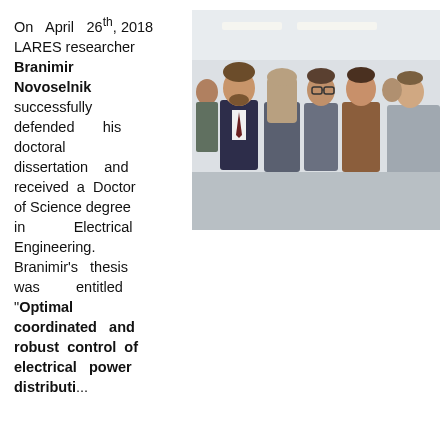On April 26th, 2018 LARES researcher Branimir Novoselnik successfully defended his doctoral dissertation and received a Doctor of Science degree in Electrical Engineering. Branimir's thesis was entitled "Optimal coordinated and robust control of electrical power distribution...
[Figure (photo): Group photo of approximately 5-6 people standing together in a room, with the doctoral candidate in a dark suit and tie at the left of the group.]